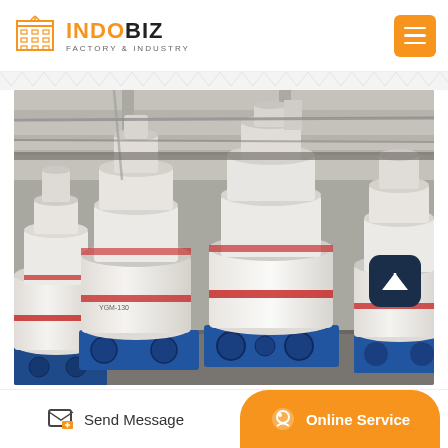INDOBIZ FACTORY & INDUSTRY
[Figure (photo): Industrial factory floor showing multiple large white powder grinding mill machines (Raymond mills) with blue base frames, wrapped in white packaging, lined up in a warehouse facility]
Send Message
Online Service